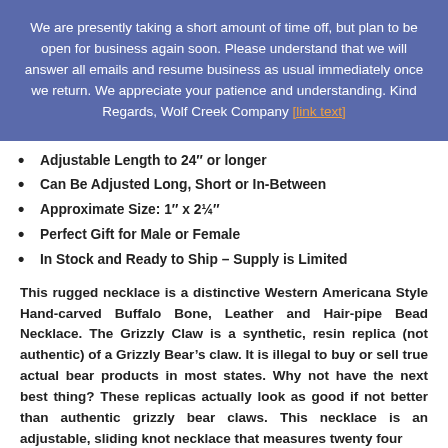We are presently taking a short amount of time off, but plan to be open for business again soon. Please understand that we will answer all emails and resume business as usual immediately once we return. We appreciate your patience and understanding. Kind Regards, Wolf Creek Company [link]
Adjustable Length to 24″ or longer
Can Be Adjusted Long, Short or In-Between
Approximate Size: 1″ x 2¼″
Perfect Gift for Male or Female
In Stock and Ready to Ship – Supply is Limited
This rugged necklace is a distinctive Western Americana Style Hand-carved Buffalo Bone, Leather and Hair-pipe Bead Necklace. The Grizzly Claw is a synthetic, resin replica (not authentic) of a Grizzly Bear's claw. It is illegal to buy or sell true actual bear products in most states. Why not have the next best thing? These replicas actually look as good if not better than authentic grizzly bear claws. This necklace is an adjustable, sliding knot necklace that measures twenty four